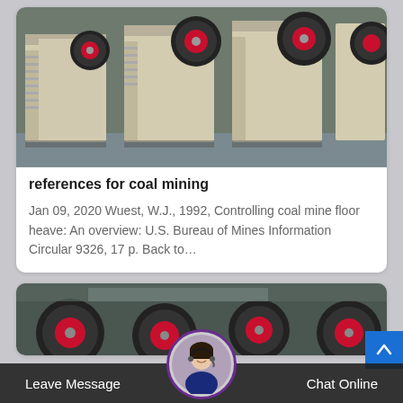[Figure (photo): Industrial jaw crusher machines in a factory setting, cream/beige colored with red and black flywheels]
references for coal mining
Jan 09, 2020 Wuest, W.J., 1992, Controlling coal mine floor heave: An overview: U.S. Bureau of Mines Information Circular 9326, 17 p. Back to…
[Figure (photo): Industrial mining equipment/rollers in a warehouse, red and black machinery visible]
Leave Message
Chat Online